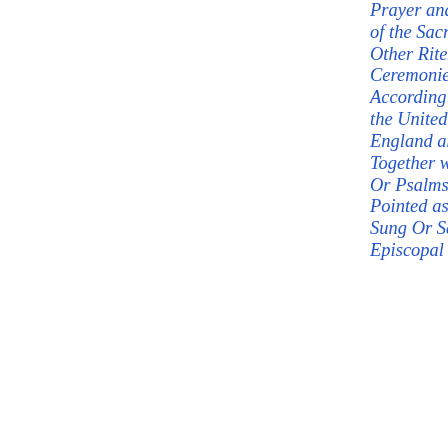Prayer and Administration of the Sacraments, and Other Rites and Ceremonies of the Church According to the Use of the United Church of England and Ireland Together with the Psalter Or Psalms of David Pointed as They are to be Sung Or Said in Churches, Episcopal Church